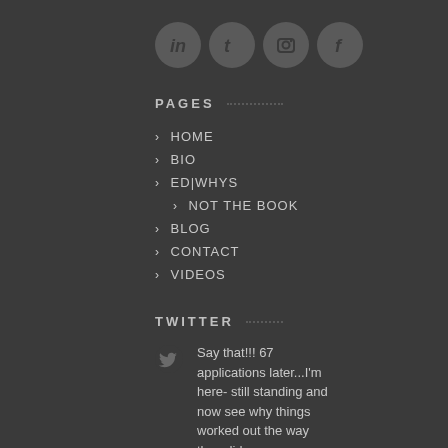[Figure (illustration): Four social media icon circles: LinkedIn (in), Twitter (t), Instagram (camera), Facebook (f)]
PAGES
> HOME
> BIO
> ED|WHYS
> NOT THE BOOK
> BLOG
> CONTACT
> VIDEOS
TWITTER
Say that!!! 67 applications later...I'm here- still standing and now see why things worked out the way they did.... https://t.co/ioy2p8PgFR about 17 hours ago